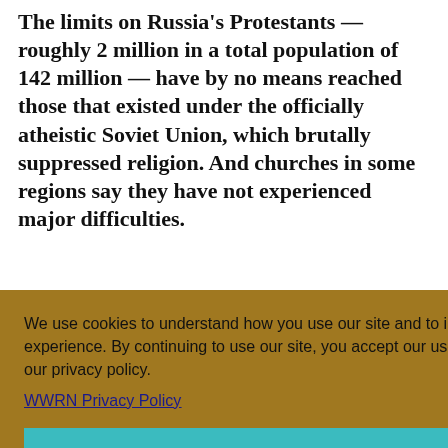The limits on Russia's Protestants — roughly 2 million in a total population of 142 million — have by no means reached those that existed under the officially atheistic Soviet Union, which brutally suppressed religion. And churches in some regions say they have not experienced major difficulties.
We use cookies to understand how you use our site and to improve your experience. By continuing to use our site, you accept our use of cookies and our privacy policy.
WWRN Privacy Policy
I Accept
Mr. Putin has also denounced anti-Semitism.